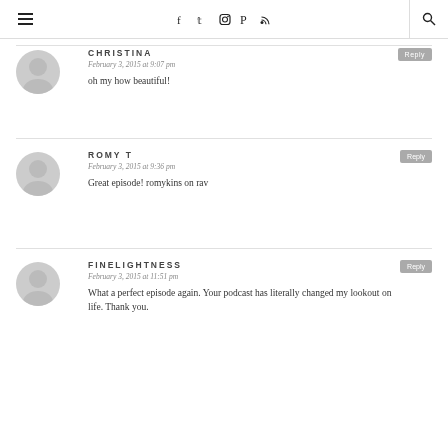Navigation header with menu, social icons, and search
CHRISTINA
February 3, 2015 at 9:07 pm
oh my how beautiful!
ROMY T
February 3, 2015 at 9:36 pm
Great episode! romykins on rav
FINELIGHTNESS
February 3, 2015 at 11:51 pm
What a perfect episode again. Your podcast has literally changed my lookout on life. Thank you.